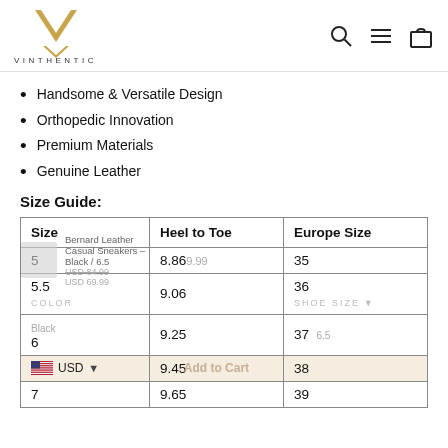VINTHENTIC — navigation header with logo, search, menu, cart icons
Handsome & Versatile Design
Orthopedic Innovation
Premium Materials
Genuine Leather
Size Guide:
| Size | Heel to Toe | Europe Size |
| --- | --- | --- |
| 5 | 8.86 | 35 |
| 5.5 | 9.06 | 36 |
| 6 | 9.25 | 37 |
| 6.5 (USD ▾) | 9.45 | 38 |
| 7 | 9.65 | 39 |